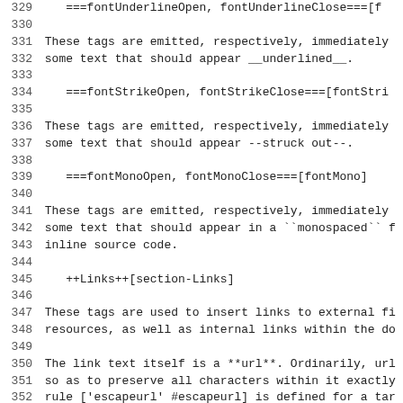329     ===fontUnderlineOpen, fontUnderlineClose===[f
330
331 These tags are emitted, respectively, immediately
332 some text that should appear __underlined__.
333
334     ===fontStrikeOpen, fontStrikeClose===[fontStri
335
336 These tags are emitted, respectively, immediately
337 some text that should appear --struck out--.
338
339     ===fontMonoOpen, fontMonoClose===[fontMono]
340
341 These tags are emitted, respectively, immediately
342 some text that should appear in a ``monospaced`` f
343 inline source code.
344
345     ++Links++[section-Links]
346
347 These tags are used to insert links to external fi
348 resources, as well as internal links within the do
349
350 The link text itself is a **url**. Ordinarily, url
351 so as to preserve all characters within it exactly
352 rule ['escapeurl' #escapeurl] is defined for a tar
353 through //doEscape()// after all. Additionally, if
354 ['linkable' #linkable] is not defined, signalling
355 support true links, then the url will be escaped a
356
357     ===url===[url]
358
359 This tag...